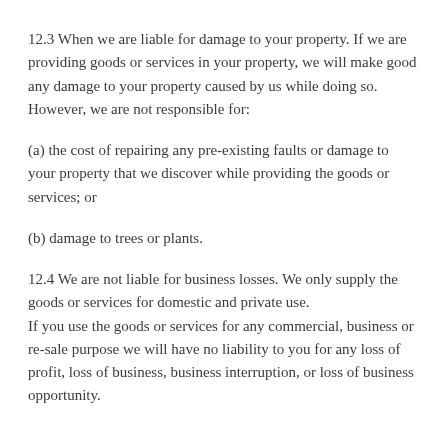12.3 When we are liable for damage to your property. If we are providing goods or services in your property, we will make good any damage to your property caused by us while doing so. However, we are not responsible for:
(a) the cost of repairing any pre-existing faults or damage to your property that we discover while providing the goods or services; or
(b) damage to trees or plants.
12.4 We are not liable for business losses. We only supply the goods or services for domestic and private use. If you use the goods or services for any commercial, business or re-sale purpose we will have no liability to you for any loss of profit, loss of business, business interruption, or loss of business opportunity.